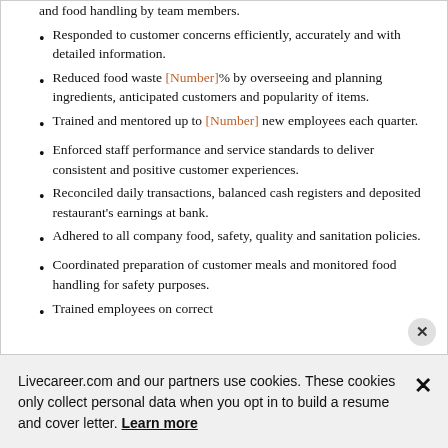and food handling by team members.
Responded to customer concerns efficiently, accurately and with detailed information.
Reduced food waste [Number]% by overseeing and planning ingredients, anticipated customers and popularity of items.
Trained and mentored up to [Number] new employees each quarter.
Enforced staff performance and service standards to deliver consistent and positive customer experiences.
Reconciled daily transactions, balanced cash registers and deposited restaurant's earnings at bank.
Adhered to all company food, safety, quality and sanitation policies.
Coordinated preparation of customer meals and monitored food handling for safety purposes.
Trained employees on correct
Livecareer.com and our partners use cookies. These cookies only collect personal data when you opt in to build a resume and cover letter. Learn more